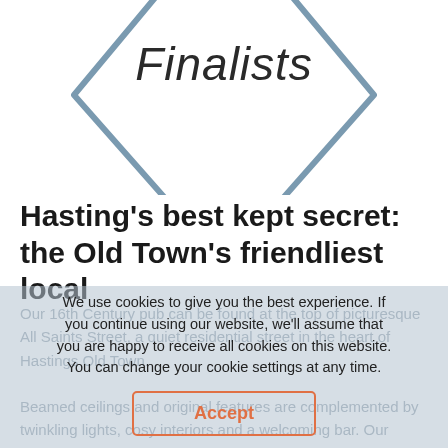[Figure (illustration): Diamond/rhombus shaped badge outline in steel blue-grey with the word 'Finalists' written in a script/cursive font inside it. Only the bottom half of the diamond shape is visible as the top is cropped.]
Hasting's best kept secret: the Old Town's friendliest local
Our 16th Century pub can be found at the top of picturesque All Saints Street, a quiet residential street in the heart of Hastings Old Town.

Beamed ceilings and original features are complemented by twinkling lights, cosy interiors and a welcoming bar. Our entertainment is a mix of traditional and contemporary, with live bands at the weekend, trad sessions throughout the week, and a host of special events throughout the year.

We have the Old Town's largest pub garden and it is
We use cookies to give you the best experience. If you continue using our website, we'll assume that you are happy to receive all cookies on this website. You can change your cookie settings at any time.
Accept
Cookies   Privacy